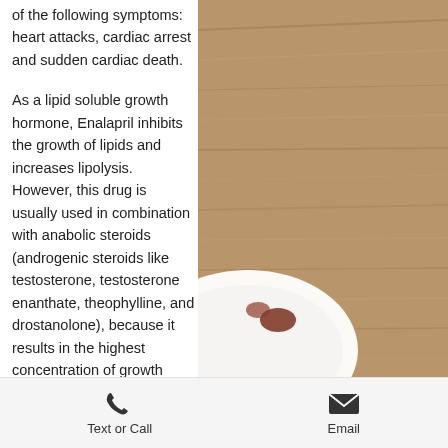of the following symptoms: heart attacks, cardiac arrest and sudden cardiac death.
As a lipid soluble growth hormone, Enalapril inhibits the growth of lipids and increases lipolysis. However, this drug is usually used in combination with anabolic steroids (androgenic steroids like testosterone, testosterone enanthate, theophylline, and drostanolone), because it results in the highest concentration of growth hormones. Although, Enalapril has an anti-inflammatory effect, it also increases the risk of the following symptoms: heart attacks, cardiac arrest and sudden cardiac death. Oxandrolone (osteomal), which is used to treat osteopenia, and can accelerate fat loss. Although, this product is extremely expensive, in my opinion it is far superior to
[Figure (photo): Background photo showing a wooden table surface with a white plate and some food items, partially visible on the right side of the page.]
Text or Call    Email